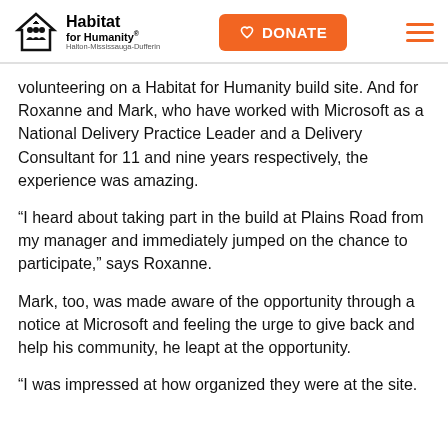Habitat for Humanity Halton-Mississauga-Dufferin — DONATE
volunteering on a Habitat for Humanity build site. And for Roxanne and Mark, who have worked with Microsoft as a National Delivery Practice Leader and a Delivery Consultant for 11 and nine years respectively, the experience was amazing.
“I heard about taking part in the build at Plains Road from my manager and immediately jumped on the chance to participate,” says Roxanne.
Mark, too, was made aware of the opportunity through a notice at Microsoft and feeling the urge to give back and help his community, he leapt at the opportunity.
“I was impressed at how organized they were at the site.